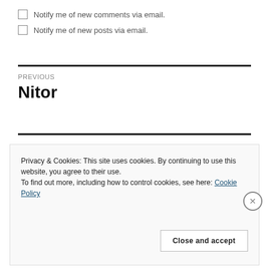Notify me of new comments via email.
Notify me of new posts via email.
PREVIOUS
Nitor
Privacy & Cookies: This site uses cookies. By continuing to use this website, you agree to their use.
To find out more, including how to control cookies, see here: Cookie Policy
Close and accept